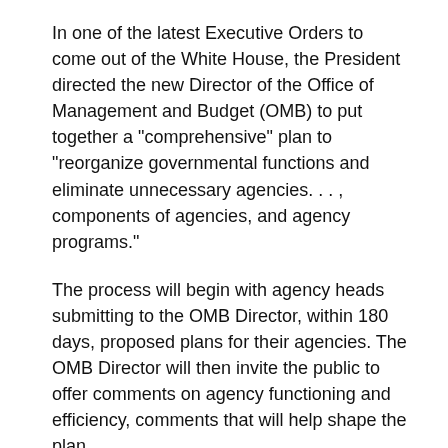In one of the latest Executive Orders to come out of the White House, the President directed the new Director of the Office of Management and Budget (OMB) to put together a "comprehensive" plan to "reorganize governmental functions and eliminate unnecessary agencies. . . , components of agencies, and agency programs."
The process will begin with agency heads submitting to the OMB Director, within 180 days, proposed plans for their agencies. The OMB Director will then invite the public to offer comments on agency functioning and efficiency, comments that will help shape the plan.
The OMB Director will submit to the President a plan to reorganize the executive branch within 180 days of the closing of the public comment period. The Director will interact with agency heads and “experts inside and outside of the federal government” in creating the plan.
The White House will then work with Congress to implement